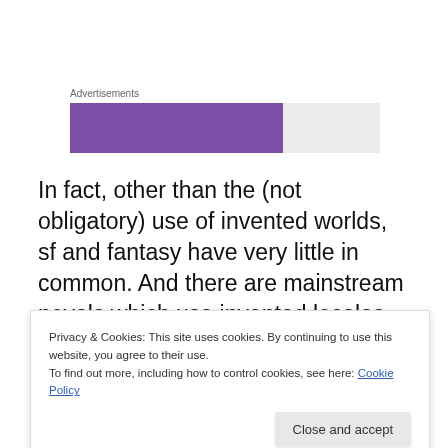[Figure (other): Advertisements bar with purple and gray sections, labeled 'Advertisements']
In fact, other than the (not obligatory) use of invented worlds, sf and fantasy have very little in common. And there are mainstream novels which use invented locales – such as South Riding, Barchester, Wetherton or Kings Markham. But then, all literature is speculative, all literature is imaginative – but that doesn't make all
Privacy & Cookies: This site uses cookies. By continuing to use this website, you agree to their use.
To find out more, including how to control cookies, see here: Cookie Policy